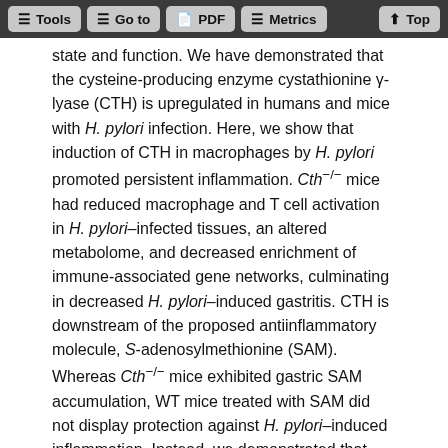Tools  Go to  PDF  Metrics  Top
state and function. We have demonstrated that the cysteine-producing enzyme cystathionine γ-lyase (CTH) is upregulated in humans and mice with H. pylori infection. Here, we show that induction of CTH in macrophages by H. pylori promoted persistent inflammation. Cth−/− mice had reduced macrophage and T cell activation in H. pylori–infected tissues, an altered metabolome, and decreased enrichment of immune-associated gene networks, culminating in decreased H. pylori–induced gastritis. CTH is downstream of the proposed antiinflammatory molecule, S-adenosylmethionine (SAM). Whereas Cth−/− mice exhibited gastric SAM accumulation, WT mice treated with SAM did not display protection against H. pylori–induced inflammation. Instead, we demonstrated that Cth-deficient macrophages